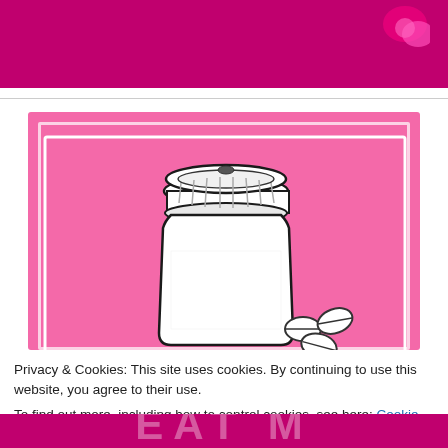[Figure (illustration): Pink banner background with decorative pink heart/bow in upper right corner]
[Figure (illustration): Pink card with white inner border containing a black-and-white illustration of a prescription pill bottle with pills/tablets scattered next to it, on pink background]
Privacy & Cookies: This site uses cookies. By continuing to use this website, you agree to their use.
To find out more, including how to control cookies, see here: Cookie Policy
[Figure (illustration): Bottom pink banner partially showing white bold letters 'EAT M' (partial text cutoff)]